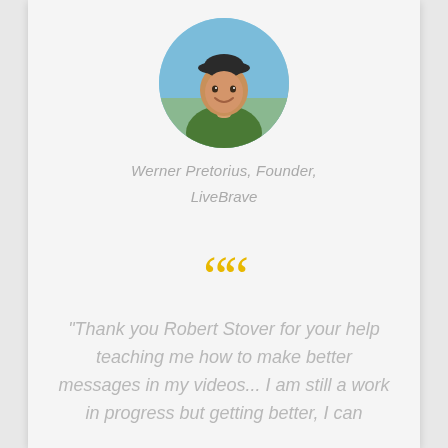[Figure (photo): Circular profile photo of a young man smiling, wearing a cap, outdoors with blue sky background]
Werner Pretorius, Founder,
LiveBrave
““
"Thank you Robert Stover for your help teaching me how to make better messages in my videos... I am still a work in progress but getting better, I can